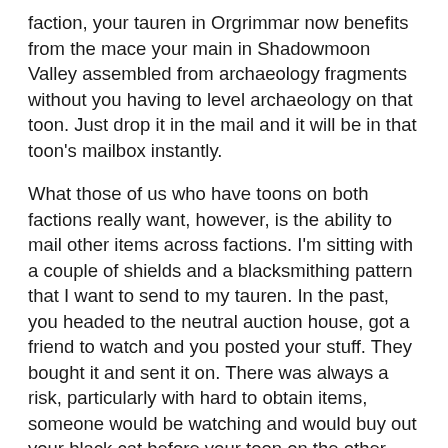faction, your tauren in Orgrimmar now benefits from the mace your main in Shadowmoon Valley assembled from archaeology fragments without you having to level archaeology on that toon. Just drop it in the mail and it will be in that toon's mailbox instantly.
What those of us who have toons on both factions really want, however, is the ability to mail other items across factions. I'm sitting with a couple of shields and a blacksmithing pattern that I want to send to my tauren. In the past, you headed to the neutral auction house, got a friend to watch and you posted your stuff. They bought it and sent it on. There was always a risk, particularly with hard to obtain items, someone would be watching and would buy out your black cat before your toon on the other side bought it. It was rare, but it did happen. With the demise of the neutral AH, this risk has risen because there are players who regularly play the AH, looking for under valued items. It's very frustrating to send materials to the other side now.
There has to be a reason this isn't allowed. Blizzard took a great step in combining auction houses so both sides benefit